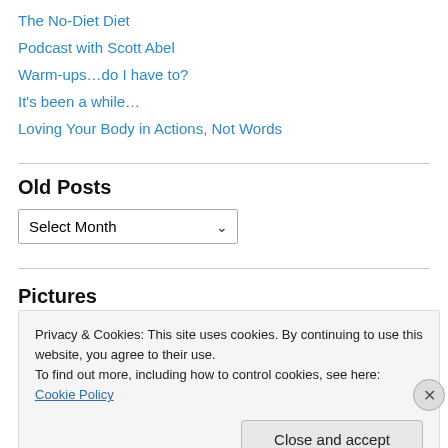The No-Diet Diet
Podcast with Scott Abel
Warm-ups…do I have to?
It's been a while…
Loving Your Body in Actions, Not Words
Old Posts
Select Month (dropdown)
Pictures
Privacy & Cookies: This site uses cookies. By continuing to use this website, you agree to their use.
To find out more, including how to control cookies, see here: Cookie Policy
Close and accept